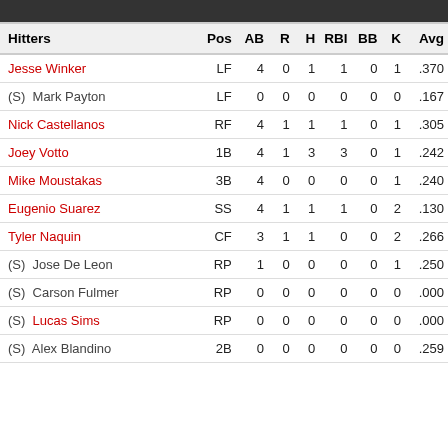| Hitters | Pos | AB | R | H | RBI | BB | K | Avg |
| --- | --- | --- | --- | --- | --- | --- | --- | --- |
| Jesse Winker | LF | 4 | 0 | 1 | 1 | 0 | 1 | .370 |
| (S)  Mark Payton | LF | 0 | 0 | 0 | 0 | 0 | 0 | .167 |
| Nick Castellanos | RF | 4 | 1 | 1 | 1 | 0 | 1 | .305 |
| Joey Votto | 1B | 4 | 1 | 3 | 3 | 0 | 1 | .242 |
| Mike Moustakas | 3B | 4 | 0 | 0 | 0 | 0 | 1 | .240 |
| Eugenio Suarez | SS | 4 | 1 | 1 | 1 | 0 | 2 | .130 |
| Tyler Naquin | CF | 3 | 1 | 1 | 0 | 0 | 2 | .266 |
| (S)  Jose De Leon | RP | 1 | 0 | 0 | 0 | 0 | 1 | .250 |
| (S)  Carson Fulmer | RP | 0 | 0 | 0 | 0 | 0 | 0 | .000 |
| (S)  Lucas Sims | RP | 0 | 0 | 0 | 0 | 0 | 0 | .000 |
| (S)  Alex Blandino | 2B | 0 | 0 | 0 | 0 | 0 | 0 | .259 |